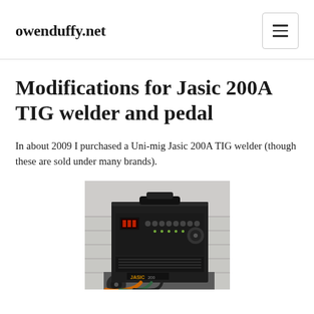owenduffy.net
Modifications for Jasic 200A TIG welder and pedal
In about 2009 I purchased a Uni-mig Jasic 200A TIG welder (though these are sold under many brands).
[Figure (photo): Photo of a Jasic TIG 200 welding machine on a wheeled cart, black metal casing with front control panel showing red LED display and multiple knobs and buttons, cables attached at bottom, against a light grey garage wall background.]